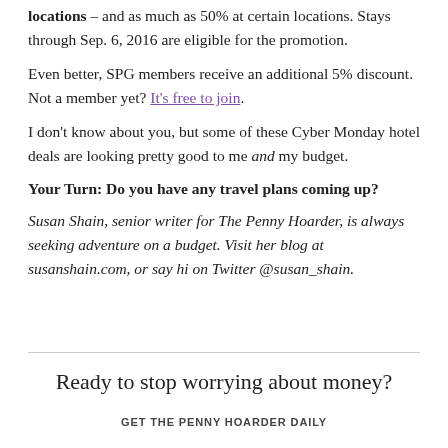locations – and as much as 50% at certain locations. Stays through Sep. 6, 2016 are eligible for the promotion.
Even better, SPG members receive an additional 5% discount. Not a member yet? It's free to join.
I don't know about you, but some of these Cyber Monday hotel deals are looking pretty good to me and my budget.
Your Turn: Do you have any travel plans coming up?
Susan Shain, senior writer for The Penny Hoarder, is always seeking adventure on a budget. Visit her blog at susanshain.com, or say hi on Twitter @susan_shain.
Ready to stop worrying about money?
GET THE PENNY HOARDER DAILY